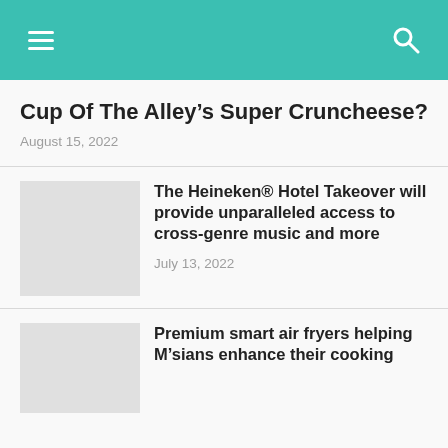Navigation header with menu and search icons
Cup Of The Alley’s Super Cruncheese?
August 15, 2022
The Heineken® Hotel Takeover will provide unparalleled access to cross-genre music and more
July 13, 2022
Premium smart air fryers helping M’sians enhance their cooking